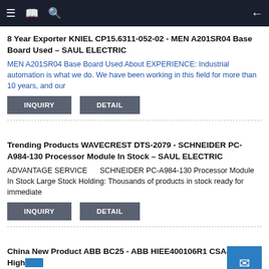Navigation bar with menu, bookmark, search icons and back arrow
8 Year Exporter KNIEL CP15.6311-052-02 - MEN A201SR04 Base Board Used – SAUL ELECTRIC
MEN A201SR04 Base Board Used About EXPERIENCE: Industrial automation is what we do. We have been working in this field for more than 10 years, and our
Trending Products WAVECREST DTS-2079 - SCHNEIDER PC-A984-130 Processor Module In Stock – SAUL ELECTRIC
ADVANTAGE SERVICE       SCHNEIDER PC-A984-130 Processor Module In Stock Large Stock Holding: Thousands of products in stock ready for immediate
China New Product ABB BC25 - ABB HIEE400106R1 CSA464AE High Favorable Price – SAUL ELECTRIC